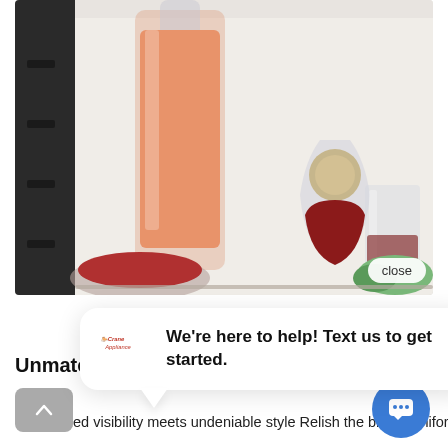[Figure (photo): Refrigerator interior showing glass bottles and decanters with orange/pink liquid, a glass with red liquid, a drinking glass, and green vegetables in a bright white-lit fridge.]
close
[Figure (infographic): Chat popup with Crane Appliance logo and text: We're here to help! Text us to get started.]
Unmatched visibility meets undeniable style
Unmatched visibility meets undeniable style Relish the bright, uniform light of an LED light wall that